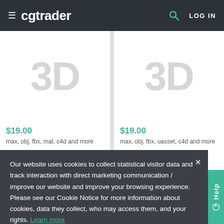≡ cgtrader  LOG IN
[Figure (other): Product card with large grey 3D text placeholder, price $19.00, formats: max, obj, fbx, mat, c4d and more]
[Figure (other): Product card with large grey 3D text placeholder, price $19.00, formats: max, obj, fbx, uasset, c4d and more]
Our website uses cookies to collect statistical visitor data and track interaction with direct marketing communication / improve our website and improve your browsing experience. Please see our Cookie Notice for more information about cookies, data they collect, who may access them, and your rights. Learn more
Accept
20  0